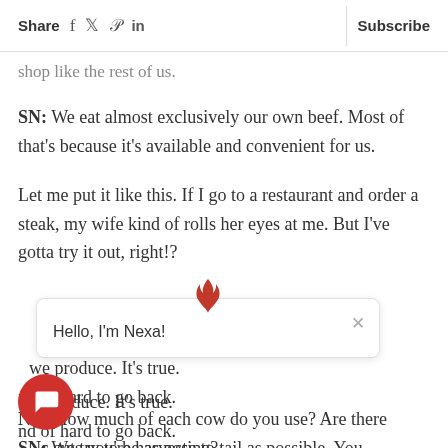Share  f  𝕏  P  in  |  Subscribe
shop like the rest of us.
SN: We eat almost exclusively our own beef. Most of that's because it's available and convenient for us.
Let me put it like this. If I go to a restaurant and order a steak, my wife kind of rolls her eyes at me. But I've gotta try it out, right!?
we produce. It's true. d of hard to go back.
[Figure (screenshot): Chat popup overlay with flame icon, close button (X), and text 'Hello, I'm Nexa!']
NC: How much of each cow do you use? Are there cuts you're harvesting?
SN: We try to be as nose to tail as possible. You